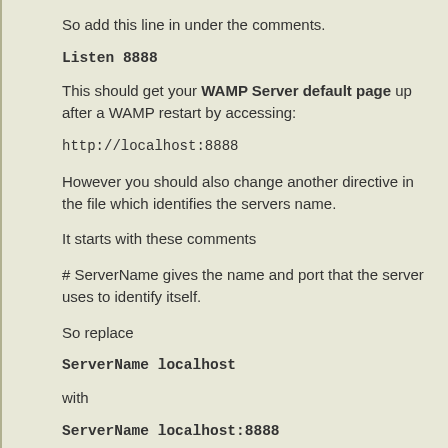So add this line in under the comments.
Listen 8888
This should get your WAMP Server default page up after a WAMP restart by accessing:
http://localhost:8888
However you should also change another directive in the file which identifies the servers name.
It starts with these comments
# ServerName gives the name and port that the server uses to identify itself.
So replace
ServerName localhost
with
ServerName localhost:8888